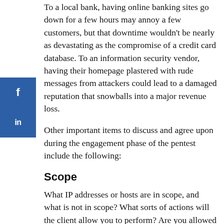To a local bank, having online banking sites go down for a few hours may annoy a few customers, but that downtime wouldn't be nearly as devastating as the compromise of a credit card database. To an information security vendor, having their homepage plastered with rude messages from attackers could lead to a damaged reputation that snowballs into a major revenue loss.
Other important items to discuss and agree upon during the engagement phase of the pentest include the following:
Scope
What IP addresses or hosts are in scope, and what is not in scope? What sorts of actions will the client allow you to perform? Are you allowed to use exploits and potentially bring down a service, or should you limit the assessment to merely detecting possible vulnerabilities? Does the client understand that even a simple port scan could bring down a server or router? Are you allowed to perform a social-engineering